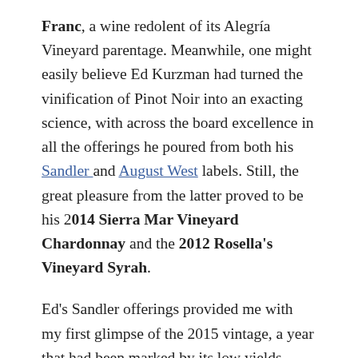Franc, a wine redolent of its Alegría Vineyard parentage. Meanwhile, one might easily believe Ed Kurzman had turned the vinification of Pinot Noir into an exacting science, with across the board excellence in all the offerings he poured from both his Sandler and August West labels. Still, the great pleasure from the latter proved to be his 2014 Sierra Mar Vineyard Chardonnay and the 2012 Rosella's Vineyard Syrah.
Ed's Sandler offerings provided me with my first glimpse of the 2015 vintage, a year that had been marked by its low yields throughout the state. Nonetheless, it portends to be great, potentially surpassing both 2012 and 2014. Of the three single vineyard selections he poured, the 2015 Bien Nacido Vineyard Pinot Noir stood slightly above both the 2015 Keeler Ranch Pinot Noir and his proprietary 2015 Boer Vineyard Pinot Noir...